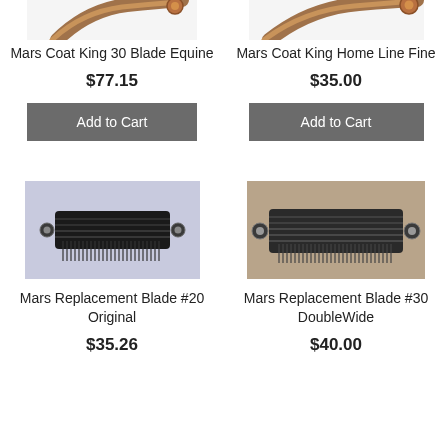[Figure (photo): Partial view of Mars Coat King 30 Blade Equine grooming tool, cropped at top]
Mars Coat King 30 Blade Equine
$77.15
Add to Cart
[Figure (photo): Partial view of Mars Coat King Home Line Fine grooming tool, cropped at top]
Mars Coat King Home Line Fine
$35.00
Add to Cart
[Figure (photo): Mars Replacement Blade #20 Original - close-up of black comb blade with teeth on light blue/grey background]
Mars Replacement Blade #20 Original
$35.26
[Figure (photo): Mars Replacement Blade #30 DoubleWide - close-up of dark comb blade with teeth on tan/beige background]
Mars Replacement Blade #30 DoubleWide
$40.00